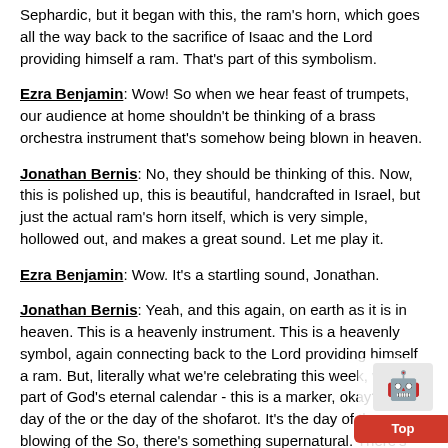Sephardic, but it began with this, the ram's horn, which goes all the way back to the sacrifice of Isaac and the Lord providing himself a ram. That's part of this symbolism.
Ezra Benjamin: Wow! So when we hear feast of trumpets, our audience at home shouldn't be thinking of a brass orchestra instrument that's somehow being blown in heaven.
Jonathan Bernis: No, they should be thinking of this. Now, this is polished up, this is beautiful, handcrafted in Israel, but just the actual ram's horn itself, which is very simple, hollowed out, and makes a great sound. Let me play it.
Ezra Benjamin: Wow. It's a startling sound, Jonathan.
Jonathan Bernis: Yeah, and this again, on earth as it is in heaven. This is a heavenly instrument. This is a heavenly symbol, again connecting back to the Lord providing himself a ram. But, literally what we're celebrating this week, which is part of God's eternal calendar - this is a marker, okay? Is the day of the or the day of the shofarot. It's the day of the blowing of the So, there's something supernatural. There's something div There's something heavenly about the ram's horn, and the
[Figure (other): CAPTCHA widget with robot icon and a red 'Top' button overlay in the bottom-right corner of the page]